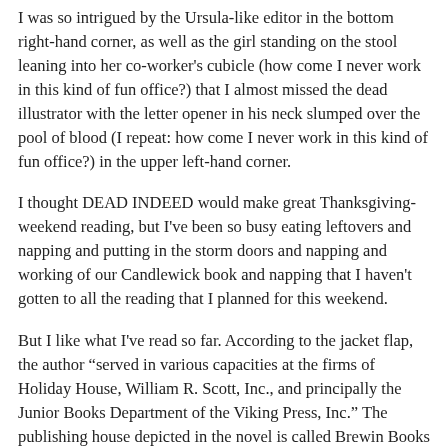I was so intrigued by the Ursula-like editor in the bottom right-hand corner, as well as the girl standing on the stool leaning into her co-worker's cubicle (how come I never work in this kind of fun office?) that I almost missed the dead illustrator with the letter opener in his neck slumped over the pool of blood (I repeat: how come I never work in this kind of fun office?) in the upper left-hand corner.
I thought DEAD INDEED would make great Thanksgiving-weekend reading, but I've been so busy eating leftovers and napping and putting in the storm doors and napping and working of our Candlewick book and napping that I haven't gotten to all the reading that I planned for this weekend.
But I like what I've read so far. According to the jacket flap, the author “served in various capacities at the firms of Holiday House, William R. Scott, Inc., and principally the Junior Books Department of the Viking Press, Inc.” The publishing house depicted in the novel is called Brewin Books and a note informs us that “The premises of Brewin Books, Inc., have been freely, not to say impertinently, adapted from those of an existing firm of the utmost